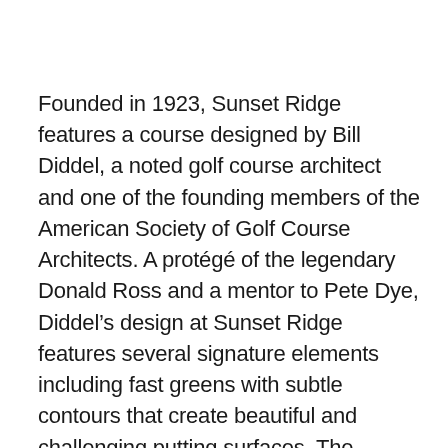Founded in 1923, Sunset Ridge features a course designed by Bill Diddel, a noted golf course architect and one of the founding members of the American Society of Golf Course Architects. A protégé of the legendary Donald Ross and a mentor to Pete Dye, Diddel's design at Sunset Ridge features several signature elements including fast greens with subtle contours that create beautiful and challenging putting surfaces. The course was renovated in 2006 by Rick Jacobson, whose work at Sunset Ridge garnered acclaim from publications such as Golf